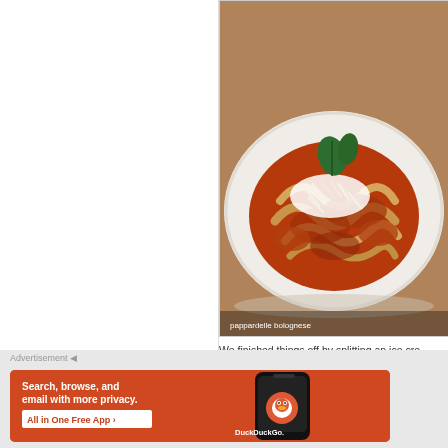[Figure (photo): A bowl of pappardelle pasta with bolognese meat sauce, topped with shredded Parmesan cheese and a fresh basil leaf, served in a white bowl]
We finished things off by splitting an ice cre cookies and chocolate gelato (grand combo presented but tasted fantastic. I would com
Advertisement
[Figure (screenshot): DuckDuckGo advertisement banner: orange background with text 'Search, browse, and email with more privacy. All in One Free App' and a smartphone showing the DuckDuckGo app logo]